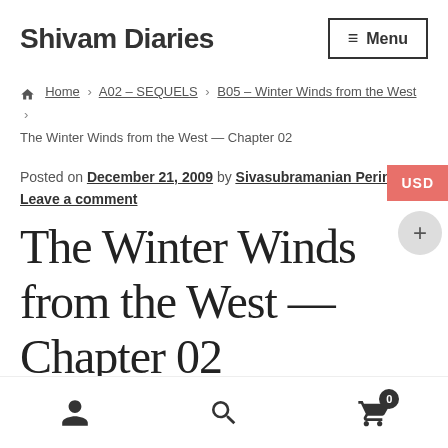Shivam Diaries  ≡ Menu
🏠 Home › A02 – SEQUELS › B05 – Winter Winds from the West › The Winter Winds from the West — Chapter 02
Posted on December 21, 2009 by Sivasubramanian Perinkular
Leave a comment
The Winter Winds from the West — Chapter 02